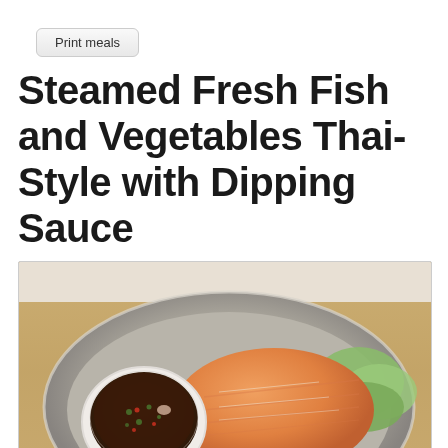Print meals
Steamed Fresh Fish and Vegetables Thai-Style with Dipping Sauce
[Figure (photo): A plate with a steamed salmon fillet on a bed of green vegetables (bok choy, broccoli, cabbage), accompanied by a small white bowl of dark Thai dipping sauce with chili and herbs, served on a decorative silver/gray plate on a wooden surface.]